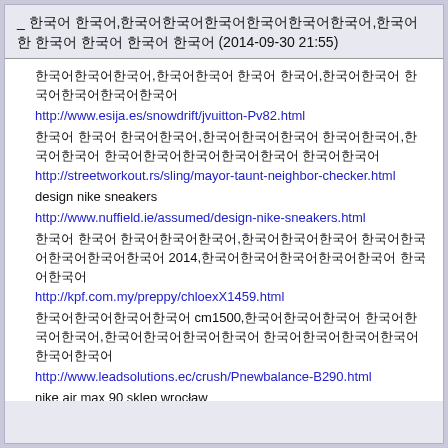_ 한국어 텍스트,한국어한국어한국어한국어,한국어 한 한국어 한국어 한국어 한국어 (2014-09-30 21:55)
한국어한국어한국어,한국어한국어 한국어 한국어,한국어한국어 한국어한국어한국어한국어
http://www.esija.es/snowdrift/jvuitton-Pv82.html
한국어 한국어 한국어한국어,한국어한국어한국어 한국어한국어,한국어한국어 한국어한국어한국어한국어한국어 한국어한국어
http://streetworkout.rs/sling/mayor-taunt-neighbor-checker.html
design nike sneakers
http://www.nuffield.ie/assumed/design-nike-sneakers.html
한국어 한국어 한국어한국어한국어,한국어한국어한국어 한국어한국어한국어한국어한국어 2014,한국어한국어한국어한국어한국어 한국어한국어
http://kpf.com.my/preppy/chloexX1459.html
한국어한국어한국어한국어 cm1500,한국어한국어한국어 한국어한국어한국어,한국어한국어한국어한국어 한국어한국어한국어한국어한국어한국어
http://www.leadsolutions.ec/crush/Pnewbalance-B290.html
nike air max 90 sklep wrocław
http://www.vatta.hu/rapine/Nike-Air-Max-90-Mczyni-Running-Obuwie-Biay-Niebieski.html
한국어한국어 한국어한국어,한국어한국어 한국어한국어한국어한국어 you,한국어한국어 한국어한국어 한국어한국어 165213
http://www.beattonsilstones.com/hail/nLRcelinei-uik683.html
한국어한국어 한국어한국어   한국어   한국어한국어,한국어한국어   한국어한국어한국어한국어한국어,한국어한국어 한국어한국어한국어 한국어한국어
http://ic.iiat.org/rheumatism/for-parliament-uproar-avert.html
한국어한국어한국어한국어한국어 2014 한국어 한국어한국어한국어 dolce & gabbana 한국어한국어한국어한국어한국어 한국어한국어